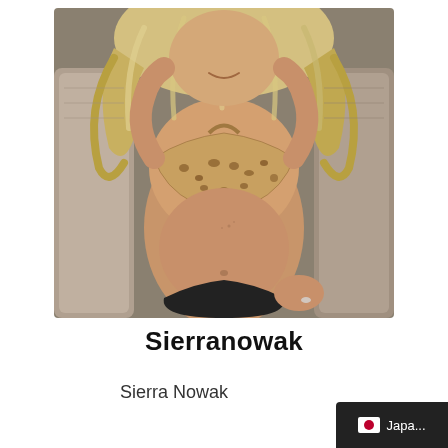[Figure (photo): A woman with long blonde wavy hair wearing a leopard print bikini top and black bikini bottom, sitting on a lounge chair outdoors, smiling, photographed from above.]
Sierranowak
Sierra Nowak
Japa...